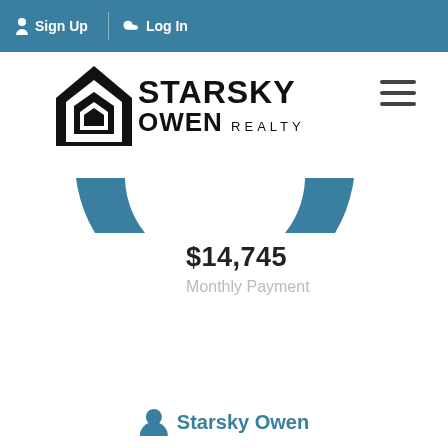Sign Up  Log In
[Figure (logo): Starsky Owen Realty logo with house icon and text]
[Figure (donut-chart): Partial donut chart in teal/steel blue showing $14,745 monthly payment]
$14,745
Monthly Payment
Starsky Owen